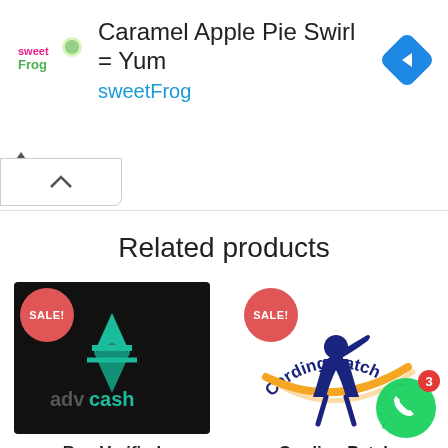[Figure (illustration): Advertisement banner for sweetFrog showing logo, text 'Caramel Apple Pie Swirl = Yum', 'sweetFrog' in cyan, and a blue navigation diamond icon with right arrow]
Related products
[Figure (logo): advcash logo on black background with teal geometric arrow/star symbol, with red SALE! badge]
Buy Verified Advcash Account
[Figure (logo): Carding Patch logo showing baseball batter with orange swoosh arc and dark blue curved text, with red SALE! badge]
Carding Patch Ultimate guide to
[Figure (other): WhatsApp contact button (green phone icon) with notification badge showing 3, and Contact us speech bubble]